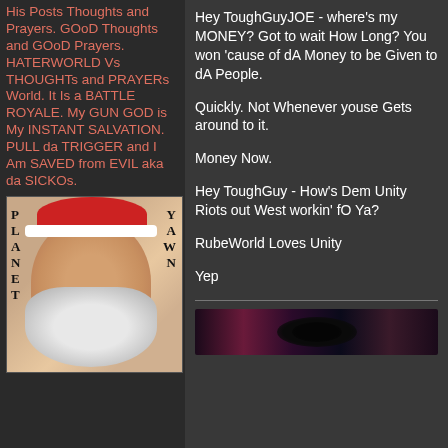His Posts Thoughts and Prayers. GOoD Thoughts and GOoD Prayers. HATERWORLD Vs THOUGHTs and PRAYERs World. It Is a BATTLE ROYALE. My GUN GOD is My INSTANT SALVATION. PULL da TRIGGER and I Am SAVED from EVIL aka da SICKOs.
[Figure (illustration): Planet Yawn image showing a bearded figure resembling Santa Claus with text 'PLANET' on left side and 'YAWN' on right side]
Hey ToughGuyJOE - where's my MONEY? Got to wait How Long? You won 'cause of dA Money to be Given to dA People.
Quickly. Not Whenever youse Gets around to it.
Money Now.
Hey ToughGuy - How's Dem Unity Riots out West workin' fO Ya?
RubeWorld Loves Unity
Yep
[Figure (photo): A colorful banner image with dark background showing what appears to be a space or cosmic themed graphic]